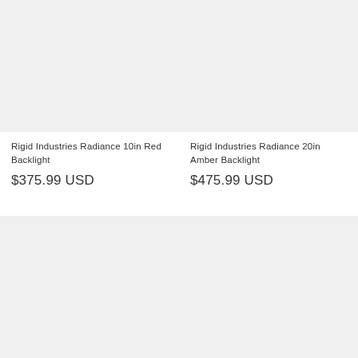[Figure (photo): Product image placeholder - light gray rectangle for Rigid Industries Radiance 10in Red Backlight]
[Figure (photo): Product image placeholder - light gray rectangle for Rigid Industries Radiance 20in Amber Backlight]
Rigid Industries Radiance 10in Red Backlight
$375.99 USD
Rigid Industries Radiance 20in Amber Backlight
$475.99 USD
[Figure (photo): Product image placeholder - light gray rectangle for third product]
[Figure (photo): Product image placeholder - light gray rectangle for fourth product]